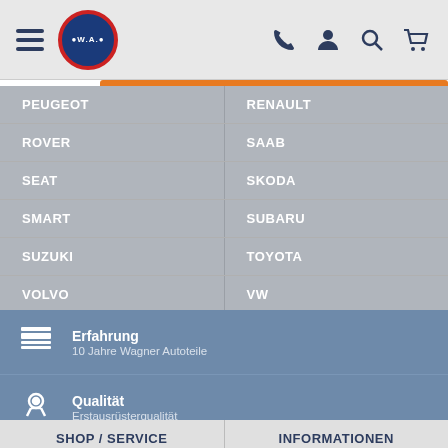[Figure (logo): W.A. Wagner Autoteile logo with hamburger menu and navigation icons]
PEUGEOT | RENAULT
ROVER | SAAB
SEAT | SKODA
SMART | SUBARU
SUZUKI | TOYOTA
VOLVO | VW
Erfahrung
10 Jahre Wagner Autoteile
Qualität
Erstausrüsterqualität
Service
Kompetente Telefonberatung
Top Preise
Angebote
SHOP / SERVICE | INFORMATIONEN